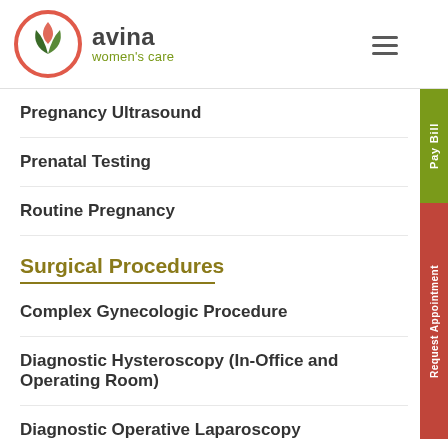[Figure (logo): Avina Women's Care logo with leaf/heart SVG icon and text]
Pregnancy Ultrasound
Prenatal Testing
Routine Pregnancy
Surgical Procedures
Complex Gynecologic Procedure
Diagnostic Hysteroscopy (In-Office and Operating Room)
Diagnostic Operative Laparoscopy
Gynecological Surgery